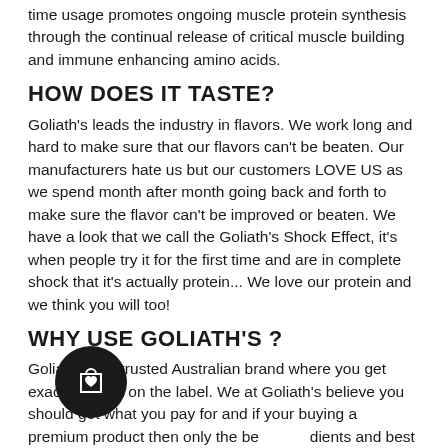time usage promotes ongoing muscle protein synthesis through the continual release of critical muscle building and immune enhancing amino acids.
HOW DOES IT TASTE?
Goliath's leads the industry in flavors. We work long and hard to make sure that our flavors can't be beaten. Our manufacturers hate us but our customers LOVE US as we spend month after month going back and forth to make sure the flavor can't be improved or beaten. We have a look that we call the Goliath's Shock Effect, it's when people try it for the first time and are in complete shock that it's actually protein... We love our protein and we think you will too!
WHY USE GOLIATH'S ?
Goliath's is a trusted Australian brand where you get exactly what's on the label. We at Goliath's believe you should get what you pay for and if your buying a premium product then only the best ingredients and best manufacturing standards will do. We take pride in our products and spend every last minute designing and resourcing the best ingredients, new and exciting flavors to fullfill our responsibility to our consumers. Our customers are important to us and we want to make sure that